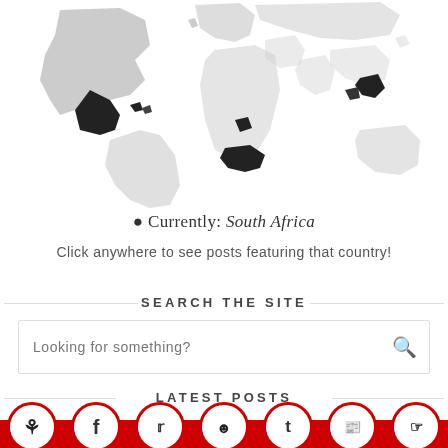[Figure (map): World map with some countries highlighted in dark/black and others in light grey, showing travel or coverage regions. North America (Mexico/Caribbean region) and parts of Africa and Southeast Asia appear darkened.]
📍 Currently: South Africa
Click anywhere to see posts featuring that country!
SEARCH THE SITE
Looking for something?
LATEST POSTS